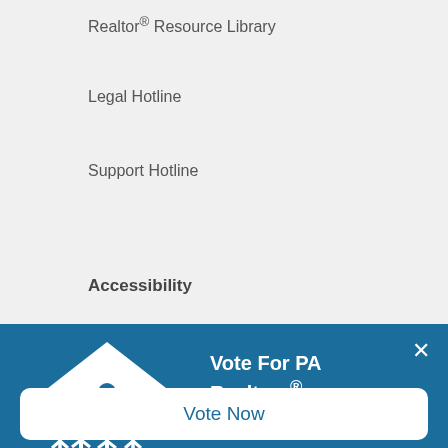Realtor® Resource Library
Legal Hotline
Support Hotline
Accessibility
[Figure (illustration): Good Neighbor Awards logo — white house icon with people figures, text 'Good Neighbor Awards' and 'National Association of Realtors']
Vote For PA Realtors®
Three Pennsylvania Realtors® are finalists for NAR's 2022 Good Neighbor Award, which recognizes Realtors® for their dedication to community service. Vote daily until Oct. 3 to support them!
Vote Now